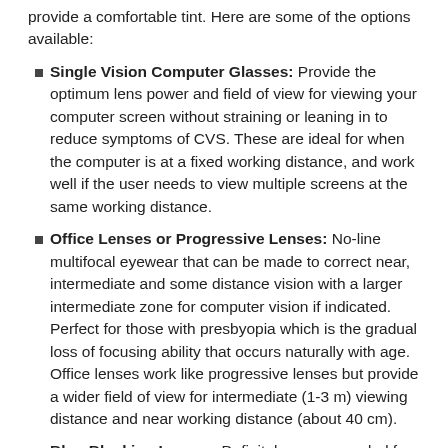provide a comfortable tint. Here are some of the options available:
Single Vision Computer Glasses: Provide the optimum lens power and field of view for viewing your computer screen without straining or leaning in to reduce symptoms of CVS. These are ideal for when the computer is at a fixed working distance, and work well if the user needs to view multiple screens at the same working distance.
Office Lenses or Progressive Lenses: No-line multifocal eyewear that can be made to correct near, intermediate and some distance vision with a larger intermediate zone for computer vision if indicated. Perfect for those with presbyopia which is the gradual loss of focusing ability that occurs naturally with age. Office lenses work like progressive lenses but provide a wider field of view for intermediate (1-3 m) viewing distance and near working distance (about 40 cm).
Blue-Blocking Lenses: Definitely recommended for this electronic age, blue-blocking lenses block blue light emitted from computer screens that is associated with glare, eye strain and possible sleep disturbances.